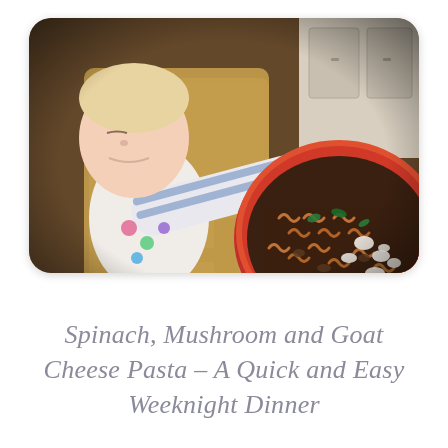[Figure (photo): A toddler in a white bib with colorful print and blue striped shirt reaches toward a large red bowl filled with rotini pasta, spinach, mushrooms, and crumbled goat cheese, placed on a wooden high chair tray.]
Spinach, Mushroom and Goat Cheese Pasta – A Quick and Easy Weeknight Dinner